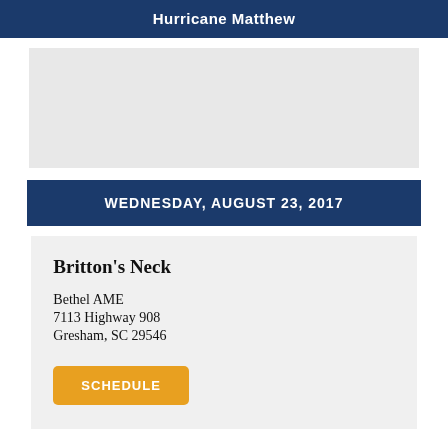Hurricane Matthew
[Figure (other): Gray placeholder image area]
WEDNESDAY, AUGUST 23, 2017
Britton's Neck
Bethel AME
7113 Highway 908
Gresham, SC 29546
SCHEDULE